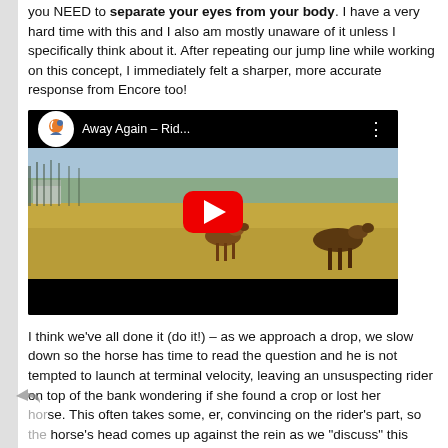you NEED to separate your eyes from your body. I have a very hard time with this and I also am mostly unaware of it unless I specifically think about it. After repeating our jump line while working on this concept, I immediately felt a sharper, more accurate response from Encore too!
[Figure (screenshot): YouTube video embed showing a rider on a horse in a field. Video title reads 'Away Again – Rid...' The video has a red play button in the center and a YouTube channel logo (horse/rider icon) in the top-left corner.]
I think we've all done it (do it!) – as we approach a drop, we slow down so the horse has time to read the question and he is not tempted to launch at terminal velocity, leaving an unsuspecting rider on top of the bank wondering if she found a crop or lost her horse. This often takes some, er, convincing on the rider's part, so the horse's head comes up against the rein as we "discuss" this strategy. We then arrive at the edge of the drop with an inverted